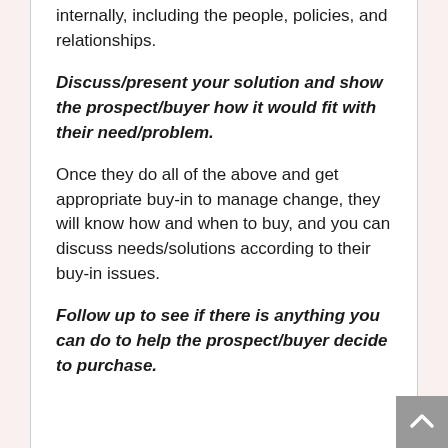internally, including the people, policies, and relationships.
Discuss/present your solution and show the prospect/buyer how it would fit with their need/problem.
Once they do all of the above and get appropriate buy-in to manage change, they will know how and when to buy, and you can discuss needs/solutions according to their buy-in issues.
Follow up to see if there is anything you can do to help the prospect/buyer decide to purchase.